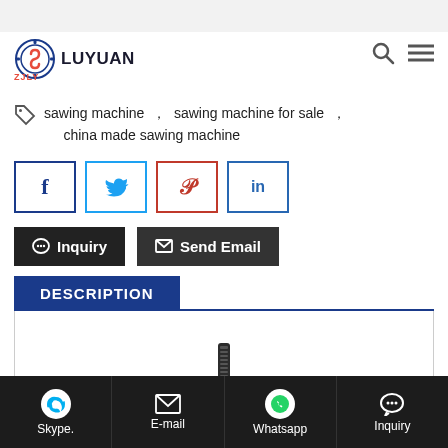LUYUAN ZJLY
sawing machine , sawing machine for sale , china made sawing machine
[Figure (other): Social share buttons: Facebook (f), Twitter (bird), Pinterest (p), LinkedIn (in)]
[Figure (other): Action buttons: Inquiry and Send Email]
DESCRIPTION
[Figure (photo): Partial product image of a sawing machine visible at bottom of description area]
Skype.  E-mail  Whatsapp  Inquiry